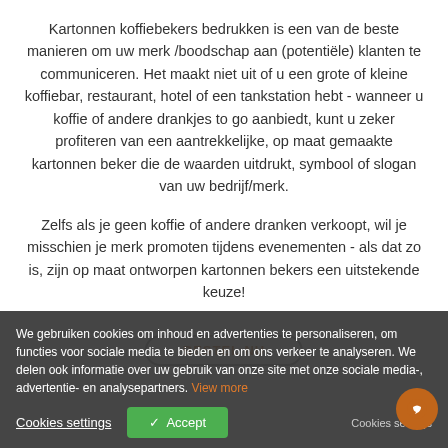Kartonnen koffiebekers bedrukken is een van de beste manieren om uw merk /boodschap aan (potentiële) klanten te communiceren. Het maakt niet uit of u een grote of kleine koffiebar, restaurant, hotel of een tankstation hebt - wanneer u koffie of andere drankjes to go aanbiedt, kunt u zeker profiteren van een aantrekkelijke, op maat gemaakte kartonnen beker die de waarden uitdrukt, symbool of slogan van uw bedrijf/merk.
Zelfs als je geen koffie of andere dranken verkoopt, wil je misschien je merk promoten tijdens evenementen - als dat zo is, zijn op maat ontworpen kartonnen bekers een uitstekende keuze!
We gebruiken cookies om inhoud en advertenties te personaliseren, om functies voor sociale media te bieden en om ons verkeer te analyseren. We delen ook informatie over uw gebruik van onze site met onze sociale media-, advertentie- en analysepartners. View more